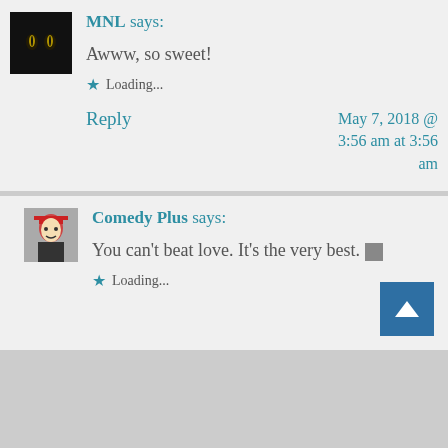MNL says:
Awww, so sweet!
★ Loading...
Reply | May 7, 2018 @ 3:56 am at 3:56 am
Comedy Plus says:
You can't beat love. It's the very best. 🔲
★ Loading...